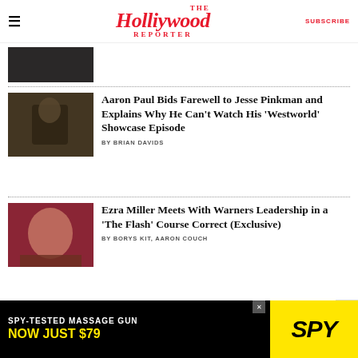The Hollywood Reporter | SUBSCRIBE
[Figure (photo): Partial article thumbnail at top, dark image of person with ladder]
Aaron Paul Bids Farewell to Jesse Pinkman and Explains Why He Can't Watch His 'Westworld' Showcase Episode
BY BRIAN DAVIDS
[Figure (photo): Ezra Miller photo, person with dark curly hair and fur coat]
Ezra Miller Meets With Warners Leadership in a 'The Flash' Course Correct (Exclusive)
BY BORYS KIT, AARON COUCH
[Figure (photo): Partial thumbnail of third article about House of the Dragon]
'House of the Dragon' Review: HBO'
[Figure (other): Advertisement banner: SPY-TESTED MASSAGE GUN NOW JUST $79, SPY brand logo on yellow background]